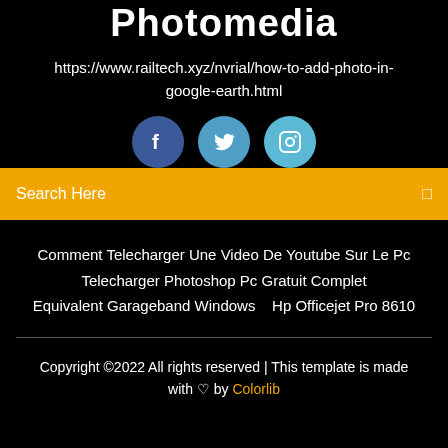Photomedia
https://www.railtech.xyz/nvrial/how-to-add-photo-in-google-earth.html
[Figure (other): Three circular social media icons: Facebook (dark blue), Twitter (medium blue), Instagram (light blue)]
Search Here
Comment Telecharger Une Video De Youtube Sur Le Pc
Telecharger Photoshop Pc Gratuit Complet
Equivalent Garageband Windows   Hp Officejet Pro 8610
Copyright ©2022 All rights reserved | This template is made with ♡ by Colorlib